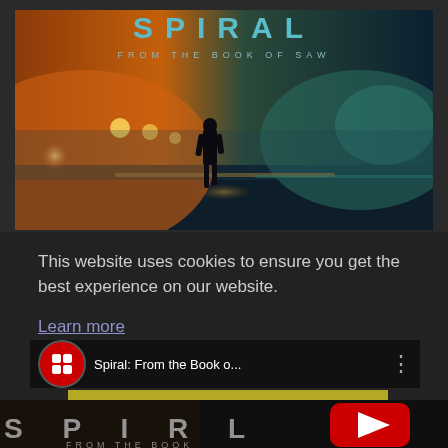[Figure (photo): Movie poster for 'Spiral: From the Book of Saw' showing a silhouette of a man walking away, with dramatic orange/teal fog lighting, street lights in background. Title 'SPIRAL' at top in teal letters, subtitle 'FROM THE BOOK OF SAW' below.]
This website uses cookies to ensure you get the best experience on our website.
Learn more
[Figure (screenshot): YouTube video bar showing 'Spiral: From the Book o...' title with YouTube logo icon on left and three-dot menu on right.]
Got it!
[Figure (screenshot): Bottom portion of video player showing 'SPIRAL FROM THE BOOK' text with YouTube play button overlay, on dark background with warm tones.]